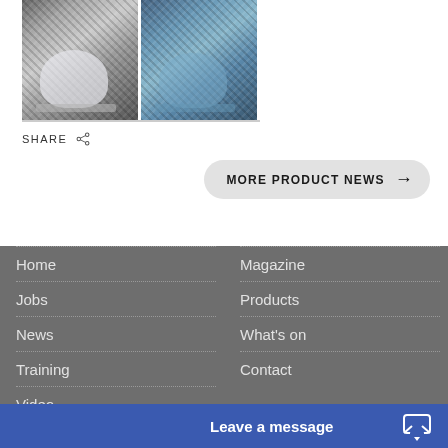[Figure (photo): Two pod/egg chairs upholstered in mosaic tile-like fabric — left one in grey/white mosaic, right one in blue mosaic — shown side by side against a dark floor background.]
SHARE
MORE PRODUCT NEWS →
Home
Jobs
News
Training
Video
Magazine
Products
What's on
Contact
Leave a message